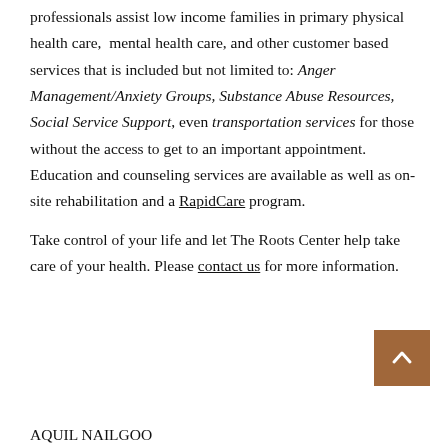professionals assist low income families in primary physical health care,  mental health care, and other customer based services that is included but not limited to: Anger Management/Anxiety Groups, Substance Abuse Resources, Social Service Support, even transportation services for those without the access to get to an important appointment. Education and counseling services are available as well as on-site rehabilitation and a RapidCare program.
Take control of your life and let The Roots Center help take care of your health. Please contact us for more information.
AQUIL NAILGOO